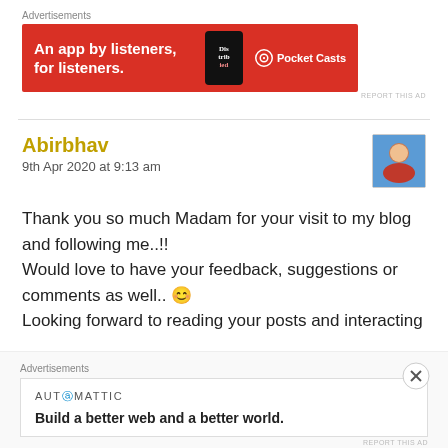Advertisements
[Figure (other): Pocket Casts advertisement banner: red background with text 'An app by listeners, for listeners.' and Pocket Casts logo with phone image showing 'Distribed' app]
REPORT THIS AD
Abirbhav
9th Apr 2020 at 9:13 am
[Figure (photo): Avatar photo of commenter Abirbhav, small square profile image]
Thank you so much Madam for your visit to my blog and following me..!!
Would love to have your feedback, suggestions or comments as well.. 😊
Looking forward to reading your posts and interacting
Advertisements
[Figure (other): Automattic advertisement: white background, AUTOMATTIC logo, tagline 'Build a better web and a better world.']
REPORT THIS AD